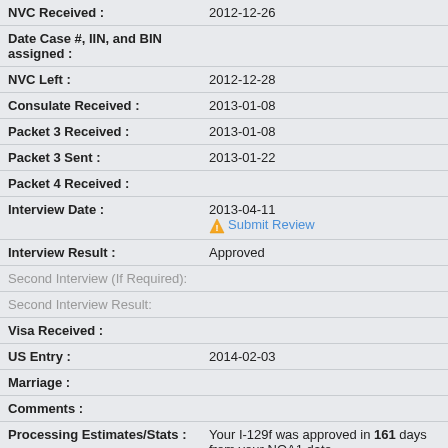| Field | Value |
| --- | --- |
| NVC Received : | 2012-12-26 |
| Date Case #, IIN, and BIN assigned : |  |
| NVC Left : | 2012-12-28 |
| Consulate Received : | 2013-01-08 |
| Packet 3 Received : | 2013-01-08 |
| Packet 3 Sent : | 2013-01-22 |
| Packet 4 Received : |  |
| Interview Date : | 2013-04-11
Submit Review |
| Interview Result : | Approved |
| Second Interview (If Required): |  |
| Second Interview Result: |  |
| Visa Received : |  |
| US Entry : | 2014-02-03 |
| Marriage : |  |
| Comments : |  |
| Processing Estimates/Stats : | Your I-129f was approved in 161 days from your NOA1 date.

Your interview took 275 days from your I-129F NOA1 date. |